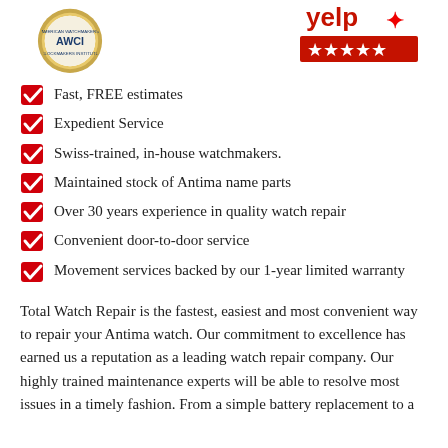[Figure (logo): AWCI circular badge/seal logo and Yelp 5-star rating logo]
Fast, FREE estimates
Expedient Service
Swiss-trained, in-house watchmakers.
Maintained stock of Antima name parts
Over 30 years experience in quality watch repair
Convenient door-to-door service
Movement services backed by our 1-year limited warranty
Total Watch Repair is the fastest, easiest and most convenient way to repair your Antima watch. Our commitment to excellence has earned us a reputation as a leading watch repair company. Our highly trained maintenance experts will be able to resolve most issues in a timely fashion. From a simple battery replacement to a